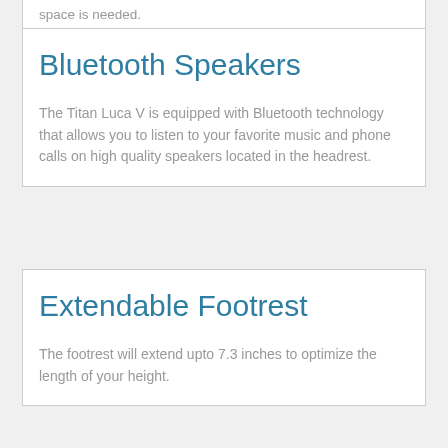space is needed.
Bluetooth Speakers
The Titan Luca V is equipped with Bluetooth technology that allows you to listen to your favorite music and phone calls on high quality speakers located in the headrest.
Extendable Footrest
The footrest will extend upto 7.3 inches to optimize the length of your height.